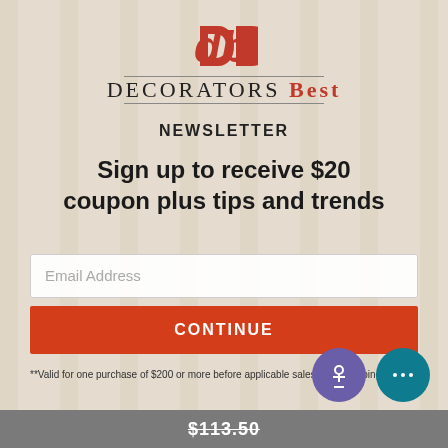[Figure (logo): DecoratorsBest logo with red 'db' icon and serif brand name with horizontal rules]
NEWSLETTER
Sign up to receive $20 coupon plus tips and trends
Email Address
CONTINUE
**Valid for one purchase of $200 or more before applicable sales tax & shipping costs.
$113.50